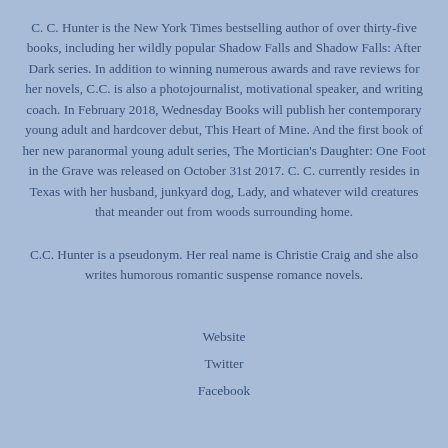C. C. Hunter is the New York Times bestselling author of over thirty-five books, including her wildly popular Shadow Falls and Shadow Falls: After Dark series. In addition to winning numerous awards and rave reviews for her novels, C.C. is also a photojournalist, motivational speaker, and writing coach. In February 2018, Wednesday Books will publish her contemporary young adult and hardcover debut, This Heart of Mine. And the first book of her new paranormal young adult series, The Mortician's Daughter: One Foot in the Grave was released on October 31st 2017. C. C. currently resides in Texas with her husband, junkyard dog, Lady, and whatever wild creatures that meander out from woods surrounding home.
C.C. Hunter is a pseudonym. Her real name is Christie Craig and she also writes humorous romantic suspense romance novels.
Website
Twitter
Facebook